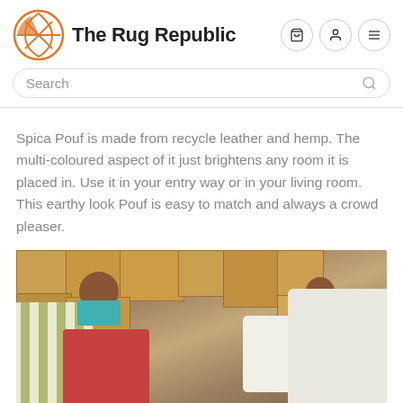The Rug Republic
Spica Pouf is made from recycle leather and hemp. The multi-coloured aspect of it just brightens any room it is placed in. Use it in your entry way or in your living room. This earthy look Pouf is easy to match and always a crowd pleaser.
[Figure (photo): Women workers wearing face masks working in a warehouse with cardboard boxes and striped fabric poufs/bags]